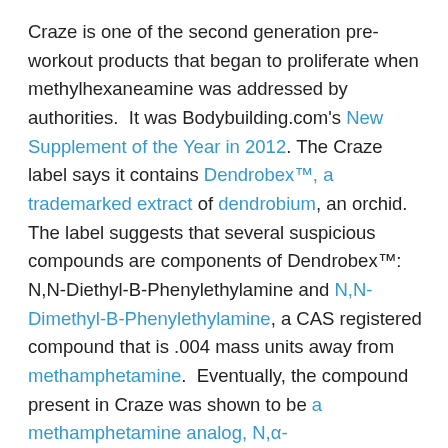Craze is one of the second generation pre-workout products that began to proliferate when methylhexaneamine was addressed by authorities.  It was Bodybuilding.com's New Supplement of the Year in 2012. The Craze label says it contains Dendrobex™, a trademarked extract of dendrobium, an orchid.  The label suggests that several suspicious compounds are components of Dendrobex™: N,N-Diethyl-B-Phenylethylamine and N,N-Dimethyl-B-Phenylethylamine, a CAS registered compound that is .004 mass units away from methamphetamine.  Eventually, the compound present in Craze was shown to be a methamphetamine analog, N,α-diethylphenylethylamine, with no known natural presence.

USA Today, in its exhaustive reporting on Craze and its